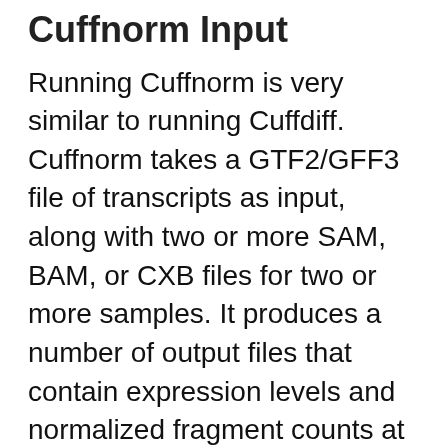Cuffnorm Input
Running Cuffnorm is very similar to running Cuffdiff. Cuffnorm takes a GTF2/GFF3 file of transcripts as input, along with two or more SAM, BAM, or CXB files for two or more samples. It produces a number of output files that contain expression levels and normalized fragment counts at the level of transcripts, primary transcripts, and genes. It also tracks changes in the relative abundance of transcripts sharing a common transcription start site, and in the relative abundances of the primary transcripts of each gene. Tracking the former allows one to see changes in splicing, and the latter lets one see